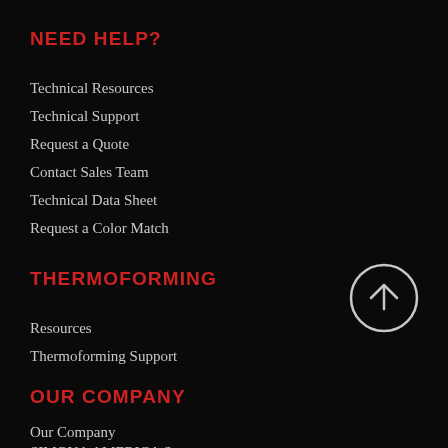NEED HELP?
Technical Resources
Technical Support
Request a Quote
Contact Sales Team
Technical Data Sheet
Request a Color Match
THERMOFORMING
Resources
Thermoforming Support
[Figure (illustration): Back to top button: circle with upward arrow]
OUR COMPANY
Our Company
SIMONA AMERICA S...